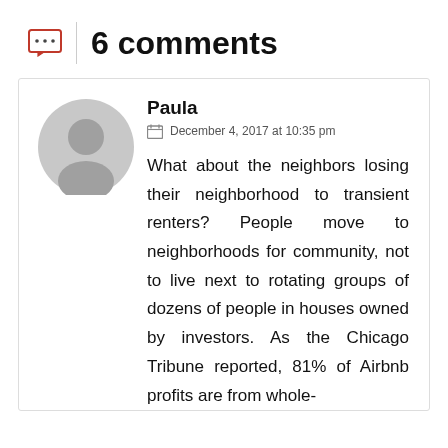6 comments
Paula
December 4, 2017 at 10:35 pm
What about the neighbors losing their neighborhood to transient renters? People move to neighborhoods for community, not to live next to rotating groups of dozens of people in houses owned by investors. As the Chicago Tribune reported, 81% of Airbnb profits are from whole-